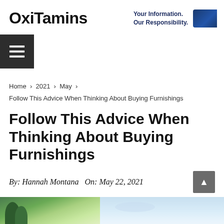OxiTamins — Your Information. Our Responsibility.
Home › 2021 › May ›
Follow This Advice When Thinking About Buying Furnishings
Follow This Advice When Thinking About Buying Furnishings
By: Hannah Montana  On: May 22, 2021
[Figure (photo): Outdoor landscape photo with tropical plants on left and sky/water on right]